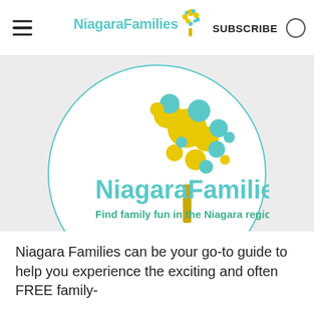NiagaraFamilies | SUBSCRIBE
[Figure (logo): NiagaraFamilies circular logo with colorful dot-tree illustration and text 'NiagaraFamilies — Find family fun in the Niagara region!']
Niagara Families can be your go-to guide to help you experience the exciting and often FREE family-